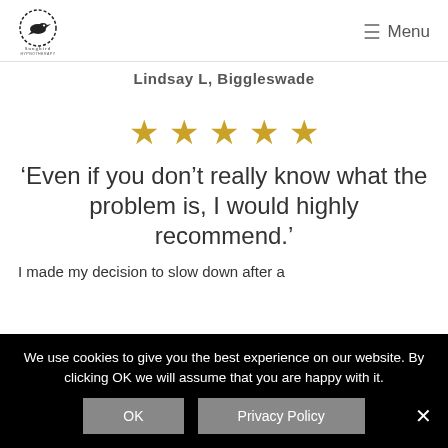Songbird Hypnotherapy — Menu
Lindsay L, Biggleswade
[Figure (other): Five gold star rating icons]
'Even if you don't really know what the problem is, I would highly recommend.'
I made my decision to slow down after a
We use cookies to give you the best experience on our website. By clicking OK we will assume that you are happy with it.